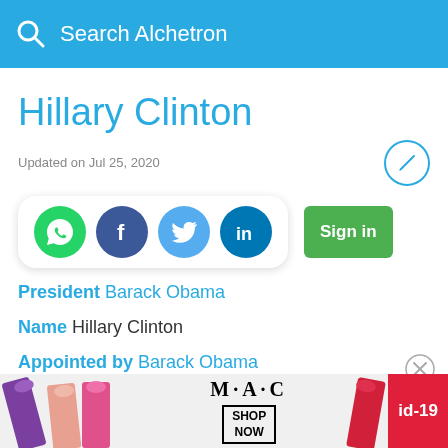Search Alchetron
Hillary Clinton
Updated on Jul 25, 2020
[Figure (infographic): Social share buttons: WhatsApp, Facebook, Twitter, LinkedIn; Sign in button]
President  Barack Obama
Name  Hillary Clinton
Appointed by  Barack Obama
Succeeded by  Kirsten Gillibrand
Child
[Figure (photo): MAC Cosmetics advertisement showing lipsticks with SHOP NOW button and id-19 tag]